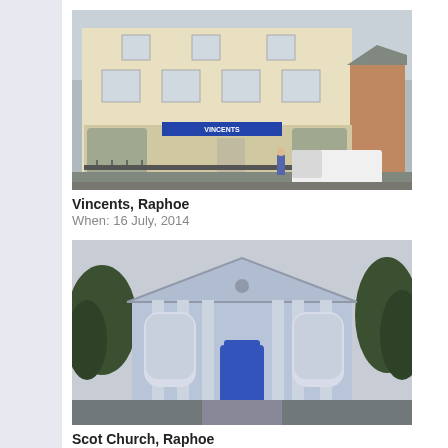[Figure (photo): Street-level photograph of a three-storey cream/yellow commercial building with a blue 'Vincents' sign on the ground floor, iron railings, and a white van parked in front. Raphoe, Ireland.]
Vincents, Raphoe
When: 16 July, 2014
[Figure (photo): Photograph of a pale blue neoclassical church building with triangular pediment, columns, arched windows, blue door, and steps leading up to entrance, surrounded by trees. Scot Church, Raphoe, Ireland.]
Scot Church, Raphoe
When: 16 July, 2014